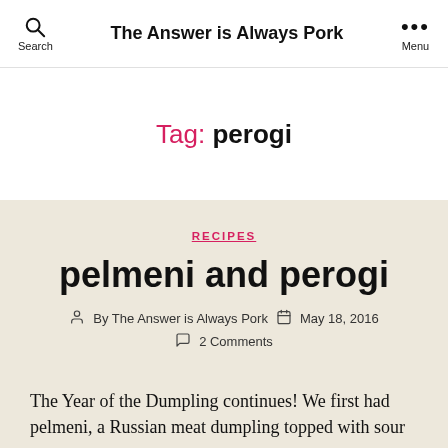Search | The Answer is Always Pork | Menu
Tag: perogi
RECIPES
pelmeni and perogi
By The Answer is Always Pork   May 18, 2016
2 Comments
The Year of the Dumpling continues! We first had pelmeni, a Russian meat dumpling topped with sour